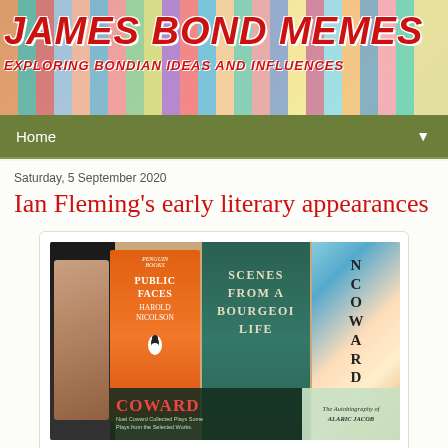JAMES BOND MEMES
EXPLORING BONDIAN IDEAS AND INFLUENCES
Home
Saturday, 5 September 2020
Ian Fleming's early literary appearances
[Figure (photo): A collection of books including 'Public Faces' by Harold Nicolson (Penguin orange paperback), 'Scenes from a Bourgeois Life' (teal hardcover), a Noel Coward volume, a Coward collected plays book, and 'The Autobiography of Alaric Jacob']
Some of the works containing appearances by Ian Fleming